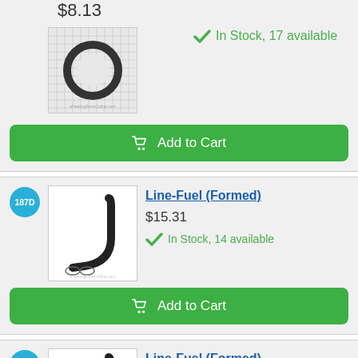[Figure (photo): Product image of a rubber gasket/ring on grid background]
$8.13
In Stock, 17 available
Add to Cart
[Figure (photo): Part 187D product image showing a black formed fuel line with two small clamps]
Line-Fuel (Formed)
$15.31
In Stock, 14 available
Add to Cart
[Figure (photo): Part 187E product image showing a black formed fuel line with two small clamps]
Line-Fuel (Formed)
$15.31
In Stock, 14 available